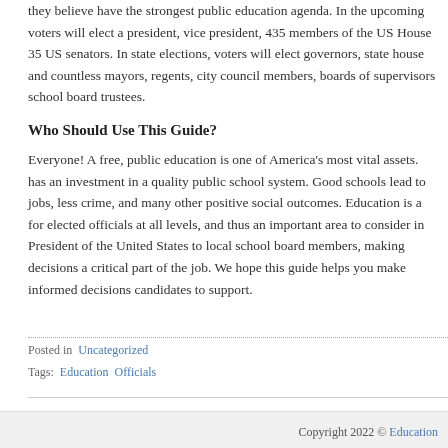they believe have the strongest public education agenda. In the upcoming voters will elect a president, vice president, 435 members of the US House 35 US senators. In state elections, voters will elect governors, state house and countless mayors, regents, city council members, boards of supervisors school board trustees.
Who Should Use This Guide?
Everyone! A free, public education is one of America's most vital assets. has an investment in a quality public school system. Good schools lead to jobs, less crime, and many other positive social outcomes. Education is a for elected officials at all levels, and thus an important area to consider President of the United States to local school board members, making decisions a critical part of the job. We hope this guide helps you make informed decisions candidates to support.
Posted in  Uncategorized
Tags:  Education  Officials
Copyright 2022 © Education